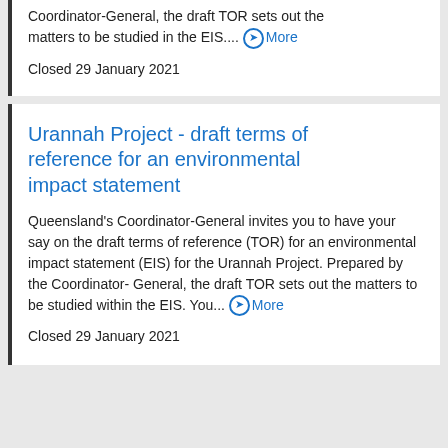Coordinator-General, the draft TOR sets out the matters to be studied in the EIS.... ➤ More
Closed 29 January 2021
Urannah Project - draft terms of reference for an environmental impact statement
Queensland's Coordinator-General invites you to have your say on the draft terms of reference (TOR) for an environmental impact statement (EIS) for the Urannah Project. Prepared by the Coordinator-General, the draft TOR sets out the matters to be studied within the EIS. You... ➤ More
Closed 29 January 2021